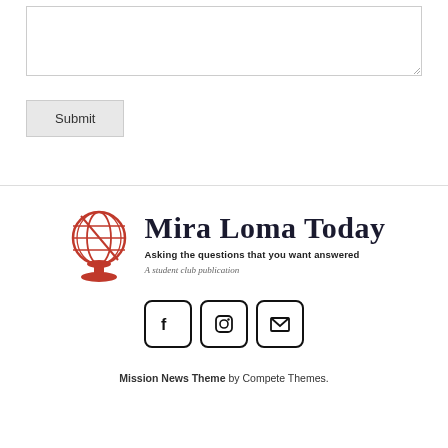[Figure (other): A textarea input box (form element)]
Submit
[Figure (logo): Mira Loma Today logo with red globe icon, title in blackletter font, tagline 'Asking the questions that you want answered', and subtitle 'A student club publication']
[Figure (other): Social media icons: Facebook, Instagram, Email in rounded square boxes]
Mission News Theme by Compete Themes.